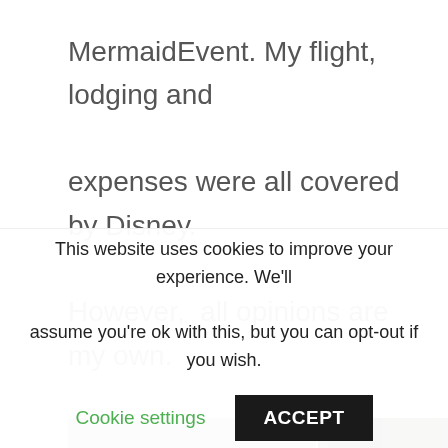MermaidEvent. My flight, lodging and expenses were all covered by Disney. However,  all opinions are my own.
[Figure (photo): Two hotel room photos side by side with handwritten text 'Roosevelt Hotel Hollywood, CA' to the right]
This website uses cookies to improve your experience. We'll assume you're ok with this, but you can opt-out if you wish.
Cookie settings   ACCEPT